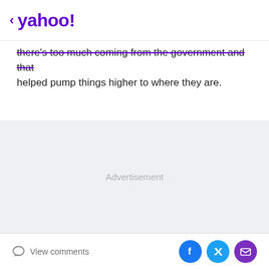< yahoo!
there's too much coming from the government and that helped pump things higher to where they are.
[Figure (other): Advertisement placeholder area with light gray background]
View comments | Facebook share | Twitter share | Email share